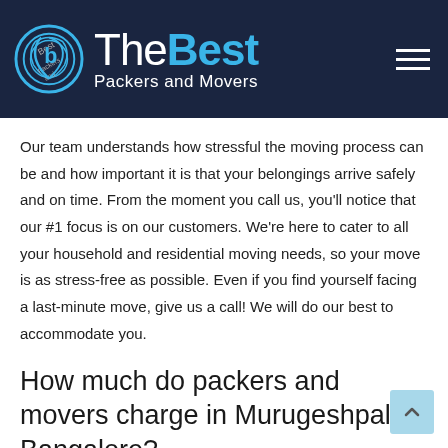TheBest Packers and Movers
Our team understands how stressful the moving process can be and how important it is that your belongings arrive safely and on time. From the moment you call us, you'll notice that our #1 focus is on our customers. We're here to cater to all your household and residential moving needs, so your move is as stress-free as possible. Even if you find yourself facing a last-minute move, give us a call! We will do our best to accommodate you.
How much do packers and movers charge in Murugeshpalya, Bangalore?